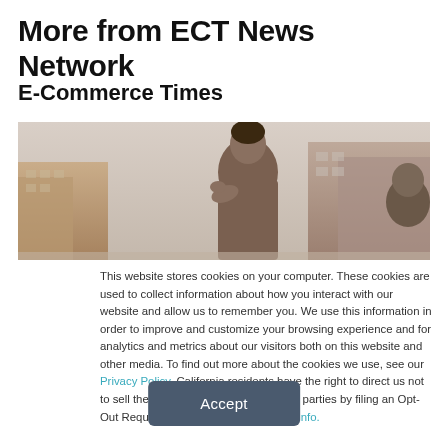More from ECT News Network
E-Commerce Times
[Figure (photo): A sepia-toned banner image showing a man in a thinking pose with modern buildings in the background, and a partial view of another person.]
This website stores cookies on your computer. These cookies are used to collect information about how you interact with our website and allow us to remember you. We use this information in order to improve and customize your browsing experience and for analytics and metrics about our visitors both on this website and other media. To find out more about the cookies we use, see our Privacy Policy. California residents have the right to direct us not to sell their personal information to third parties by filing an Opt-Out Request: Do Not Sell My Personal Info.
Accept